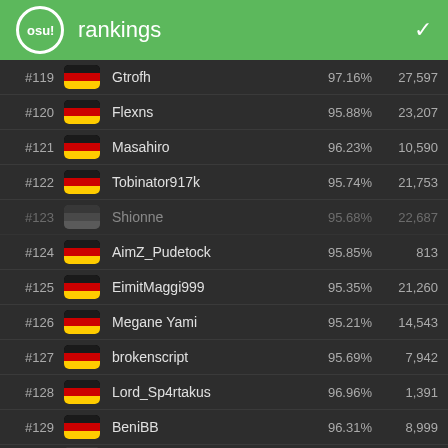osu! rankings
| Rank | Flag | Username | Accuracy | PP |
| --- | --- | --- | --- | --- |
| #119 | DE | Gtrofh | 97.16% | 27,597 |
| #120 | DE | Flexns | 95.88% | 23,207 |
| #121 | DE | Masahiro | 96.23% | 10,590 |
| #122 | DE | Tobinator917k | 95.74% | 21,753 |
| #123 | DE | Shionne | 95.68% | 22,687 |
| #124 | DE | AimZ_Pudetock | 95.85% | 813 |
| #125 | DE | EimitMaggi999 | 95.35% | 21,260 |
| #126 | DE | Megane Yami | 95.21% | 14,543 |
| #127 | DE | brokenscript | 95.69% | 7,942 |
| #128 | DE | Lord_Sp4rtakus | 96.96% | 1,391 |
| #129 | DE | BeniBB | 96.31% | 8,999 |
| #130 | DE | [...] | 95.97% |  |